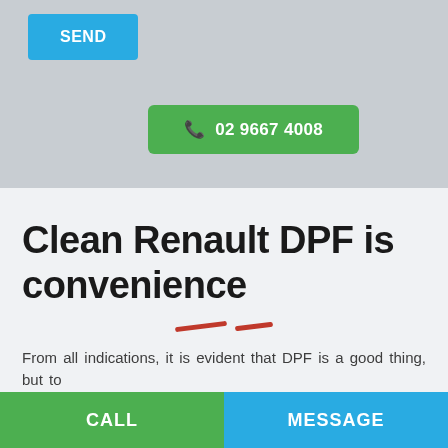[Figure (screenshot): Blue SEND button on grey background]
[Figure (screenshot): Green phone button with number 02 9667 4008]
Clean Renault DPF is convenience
[Figure (other): Two red diagonal dashes as decorative divider]
From all indications, it is evident that DPF is a good thing, but to
[Figure (screenshot): CALL and MESSAGE footer buttons]